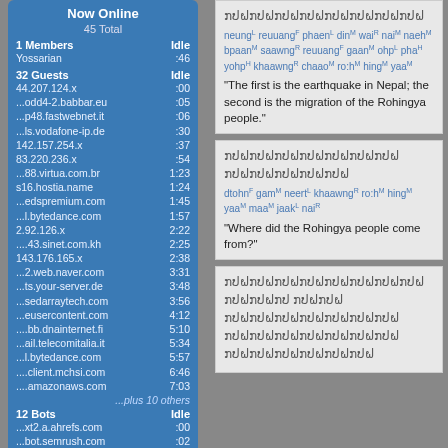Now Online
45 Total
1 Members | Idle
Yossarian | :46
32 Guests | Idle
44.207.124.x :00
...odd4-2.babbar.eu :05
...p48.fastwebnet.it :06
...ls.vodafone-ip.de :30
142.157.254.x :37
83.220.236.x :54
...88.virtua.com.br 1:23
s16.hostia.name 1:24
...edspremium.com 1:45
...l.bytedance.com 1:57
2.92.126.x 2:22
....43.sinet.com.kh 2:25
143.176.165.x 2:38
...2.web.naver.com 3:31
...ts.your-server.de 3:48
...sedarraytech.com 3:56
...eusercontent.com 4:12
....bb.dnainternet.fi 5:10
...ail.telecomitalia.it 5:34
...l.bytedance.com 5:57
....client.mchsi.com 6:46
....amazonaws.com 7:03
...plus 10 others
12 Bots | Idle
...xt2.a.ahrefs.com :00
...bot.semrush.com :02
Majestic-12 :05
Microsoft Bing :08
Yandex :10
...0-196.seostar.co :11
...49.webmeup.com :22
...-85.infotiger.com 1:46
Thai text (Lao script block 1)
neungL reuuangF phaenL dinM waiR naiM naehM bpaanM saawngR reuuangF gaanM ohpL phaH yohpH khaawngR chaaoM ro:hM hingM yaaM
"The first is the earthquake in Nepal; the second is the migration of the Rohingya people."
Thai text (Lao script block 2)
dtohnF gamM neertL khaawngR ro:hM hingM yaaM maaM jaakL naiR
"Where did the Rohingya people come from?"
Thai text (Lao script block 3 - multiple lines)